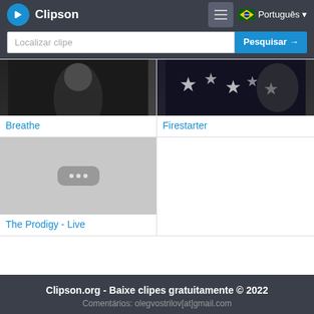Clipson — Português
Localizar clipe — Pesquisar →
[Figure (screenshot): Thumbnail for Breathe music video — dark background with female figure]
Breathe
[Figure (screenshot): Thumbnail for Firestarter music video — dark background with stars]
Firestarter
[Figure (screenshot): Placeholder thumbnail with three dots pill on grey background]
The Prodigy - Live
Clipson.org - Baixe clipes gratuitamente © 2022
Comentários: olegvostrilov[at]gmail.com